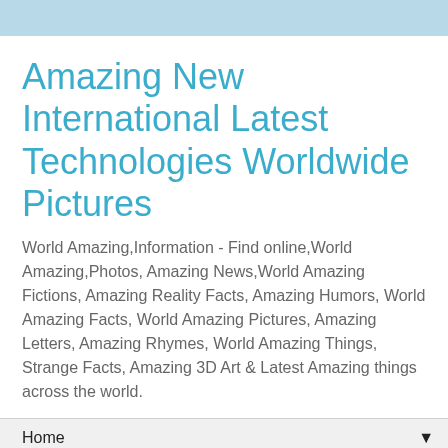Amazing New International Latest Technologies Worldwide Pictures
World Amazing,Information - Find online,World Amazing,Photos, Amazing News,World Amazing Fictions, Amazing Reality Facts, Amazing Humors, World Amazing Facts, World Amazing Pictures, Amazing Letters, Amazing Rhymes, World Amazing Things, Strange Facts, Amazing 3D Art & Latest Amazing things across the world.
Home
Home
Amazing Babies born 8/8/08 at 8:08; 8 lbs., 8 oz.